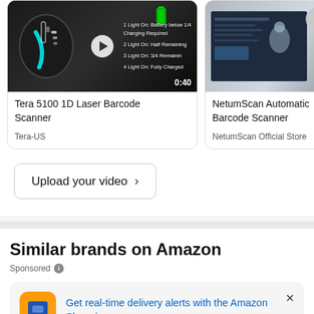[Figure (screenshot): Tera 5100 1D Laser Barcode Scanner product video thumbnail showing a dark barcode scanner with battery indicator and text overlay. Duration 0:40.]
Tera 5100 1D Laser Barcode Scanner
Tera-US
[Figure (screenshot): NetumScan Automatic Barcode Scanner product video thumbnail showing a laptop screen. Partially visible.]
NetumScan Automatic Barcode Scanner
NetumScan Official Store
Upload your video >
Similar brands on Amazon
Sponsored
Get real-time delivery alerts with the Amazon Shopping app